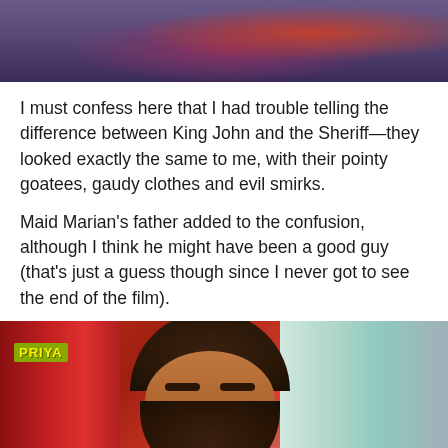[Figure (photo): Top portion of a colorful scene with purple/red tones, appears to be a film still showing ornate clothing or costume]
I must confess here that I had trouble telling the difference between King John and the Sheriff—they looked exactly the same to me, with their pointy goatees, gaudy clothes and evil smirks.
Maid Marian's father added to the confusion, although I think he might have been a good guy (that's just a guess though since I never got to see the end of the film).
[Figure (photo): Film still showing a bearded man with curly dark hair, eyes closed or downcast, wearing red/orange clothing. A 'PRIYA' logo appears in yellow-green on the left side. Red curtain on left, light blue-green background on right.]